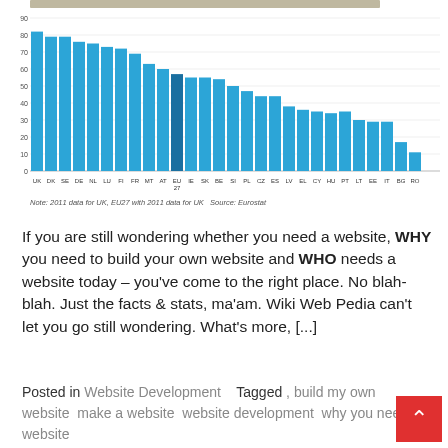[Figure (bar-chart): Internet usage by EU country]
Note: 2011 data for UK, EU27 with 2011 data for UK   Source: Eurostat
If you are still wondering whether you need a website, WHY you need to build your own website and WHO needs a website today – you've come to the right place. No blah-blah. Just the facts & stats, ma'am. Wiki Web Pedia can't let you go still wondering. What's more, [...]
Posted in Website Development    Tagged , build my own website  make a website  website development  why you need website